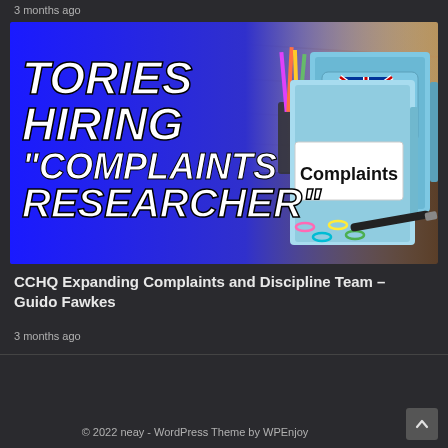3 months ago
[Figure (photo): Thumbnail image with bold white italic text on blue gradient background reading 'TORIES HIRING "COMPLAINTS RESEARCHER"' on the left, and on the right a photo of blue office binders on a desk, one labeled 'Conservatives' with a Union Jack logo and another labeled 'Complaints'. Colorful paper clips and a pen are visible on the desk.]
CCHQ Expanding Complaints and Discipline Team – Guido Fawkes
3 months ago
© 2022 neay - WordPress Theme by WPEnjoy